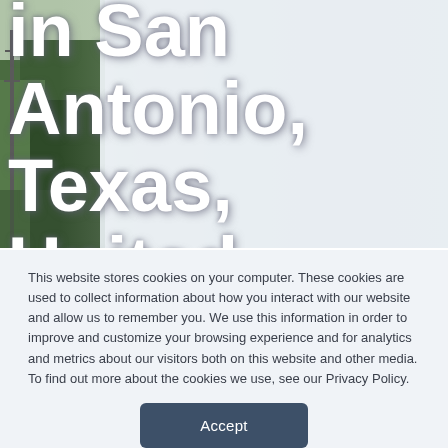[Figure (photo): Background photo of San Antonio, Texas river/urban area with trees and infrastructure visible on the left side. Large bold white text overlaid reading 'in San Antonio, Texas, United States' (partially visible). Right portion fades to light gray-blue.]
This website stores cookies on your computer. These cookies are used to collect information about how you interact with our website and allow us to remember you. We use this information in order to improve and customize your browsing experience and for analytics and metrics about our visitors both on this website and other media. To find out more about the cookies we use, see our Privacy Policy.
Accept